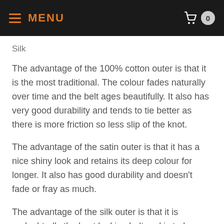MENU  0
Silk
The advantage of the 100% cotton outer is that it is the most traditional. The colour fades naturally over time and the belt ages beautifully. It also has very good durability and tends to tie better as there is more friction so less slip of the knot.
The advantage of the satin outer is that it has a nice shiny look and retains its deep colour for longer. It also has good durability and doesn't fade or fray as much.
The advantage of the silk outer is that it is undoubtedly the best looking belt and is truly a luxury. It has a nice shine (but not glare) and ages the most beautifully giving faded, experienced look desired by many. Because of the delicacy of the material it tends to sit the most naturally of the three types, and is the most malleable, however it is the least